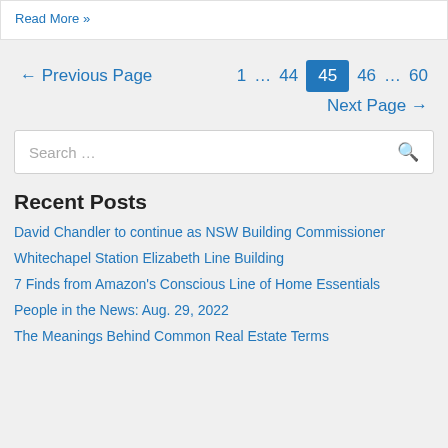Read More »
← Previous Page  1  …  44  45  46  …  60  Next Page →
Search …
Recent Posts
David Chandler to continue as NSW Building Commissioner
Whitechapel Station Elizabeth Line Building
7 Finds from Amazon's Conscious Line of Home Essentials
People in the News: Aug. 29, 2022
The Meanings Behind Common Real Estate Terms